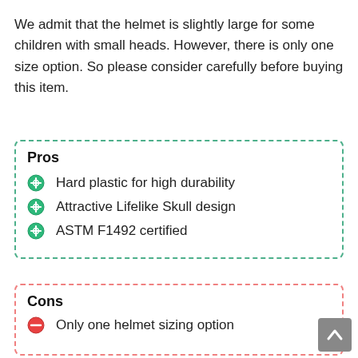We admit that the helmet is slightly large for some children with small heads. However, there is only one size option. So please consider carefully before buying this item.
Pros
Hard plastic for high durability
Attractive Lifelike Skull design
ASTM F1492 certified
Cons
Only one helmet sizing option